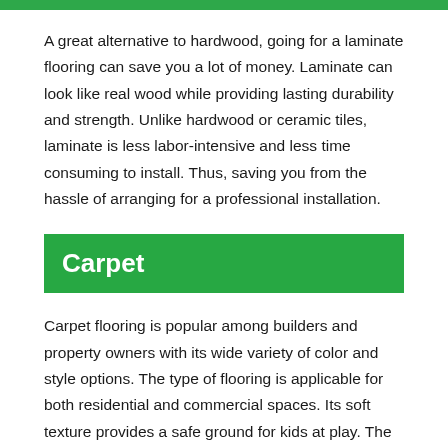A great alternative to hardwood, going for a laminate flooring can save you a lot of money. Laminate can look like real wood while providing lasting durability and strength. Unlike hardwood or ceramic tiles, laminate is less labor-intensive and less time consuming to install. Thus, saving you from the hassle of arranging for a professional installation.
Carpet
Carpet flooring is popular among builders and property owners with its wide variety of color and style options. The type of flooring is applicable for both residential and commercial spaces. Its soft texture provides a safe ground for kids at play. The only downside of choosing carpet flooring is its high maintenance needs. Due to the heavy